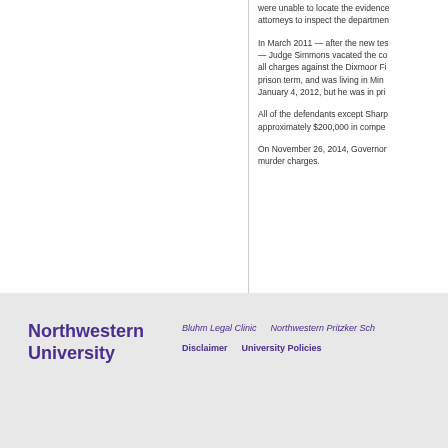were unable to locate the evidence attorneys to inspect the department
In March 2011 — after the new tes — Judge Simmons vacated the co all charges against the Dixmoor Fi prison term, and was living in Minn January 4, 2012, but he was in pris
All of the defendants except Sharp approximately $200,000 in compe
On November 26, 2014, Governor murder charges.
Northwestern University | Bluhm Legal Clinic | Northwestern Pritzker Sch | Disclaimer | University Policies